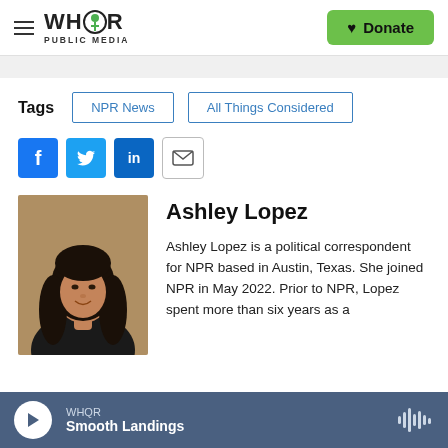WHQR PUBLIC MEDIA — Donate
Tags: NPR News, All Things Considered
[Figure (other): Social share icons: Facebook, Twitter, LinkedIn, Email]
[Figure (photo): Headshot photo of Ashley Lopez, a woman with long dark hair wearing a dark top]
Ashley Lopez
Ashley Lopez is a political correspondent for NPR based in Austin, Texas. She joined NPR in May 2022. Prior to NPR, Lopez spent more than six years as a
WHQR — Smooth Landings